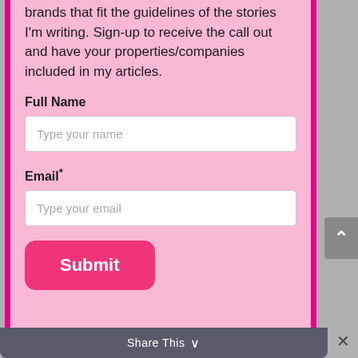brands that fit the guidelines of the stories I'm writing. Sign-up to receive the call out and have your properties/companies included in my articles.
Full Name
Type your name
Email*
Type your email
Submit
Marketing by
ActiveCampaign ≫
Share This ∨